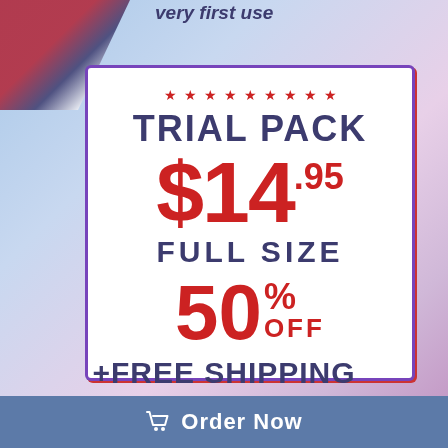very first use
[Figure (infographic): Promotional advertisement for a Trial Pack at $14.95, Full Size, 50% OFF, +Free Shipping, with an Order Now button. Features American flag imagery, red/white/blue color scheme, stars decoration, and a white card with bordered frame.]
TRIAL PACK
$14.95
FULL SIZE
50% OFF
+FREE SHIPPING
Order Now